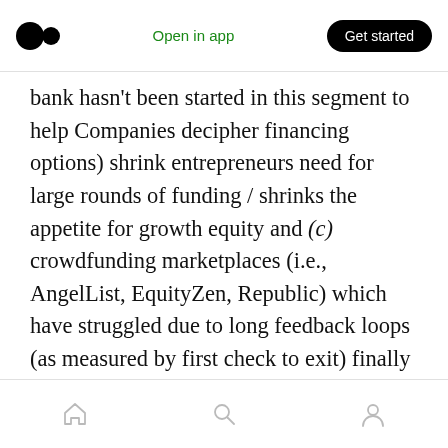Medium logo | Open in app | Get started
bank hasn't been started in this segment to help Companies decipher financing options) shrink entrepreneurs need for large rounds of funding / shrinks the appetite for growth equity and (c) crowdfunding marketplaces (i.e., AngelList, EquityZen, Republic) which have struggled due to long feedback loops (as measured by first check to exit) finally gain traction — for consumer facing products with loyal fanbases, this may serve as an avenue to access valuation agnostic capital
Home | Search | Profile